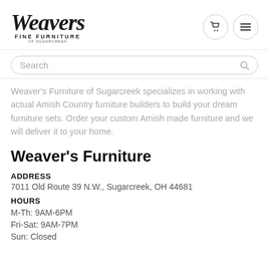[Figure (logo): Weavers Fine Furniture of Sugarcreek logo with cursive script and two icon buttons (cart and hamburger menu)]
Search
Weaver's Furniture of Sugarcreek specializes in working with actual Amish Country furniture builders to build your dream furniture sets. Order your custom Amish made furniture and we will deliver it to your home.
Weaver's Furniture
ADDRESS
7011 Old Route 39 N.W., Sugarcreek, OH 44681
HOURS
M-Th: 9AM-6PM
Fri-Sat: 9AM-7PM
Sun: Closed